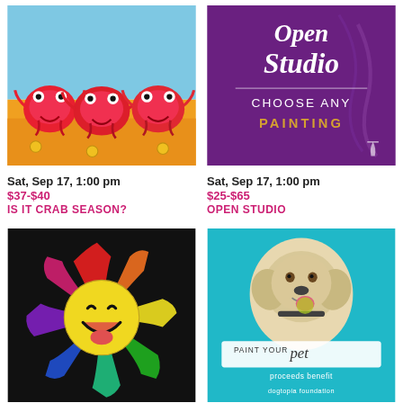[Figure (illustration): Painting of three cartoon red crabs with googly eyes on a beach with sand and orange background]
[Figure (illustration): Purple background promotional image reading 'Open Studio - Choose Any Painting' with wine glass logo]
Sat, Sep 17, 1:00 pm
$37-$40
IS IT CRAB SEASON?
Sat, Sep 17, 1:00 pm
$25-$65
OPEN STUDIO
[Figure (illustration): Painting of a yellow smiley face emoji with colorful rainbow paint splatter on black background]
[Figure (photo): Teal background promotional image showing a golden retriever dog with text 'paint your pet, proceeds benefit dogtopia foundation']